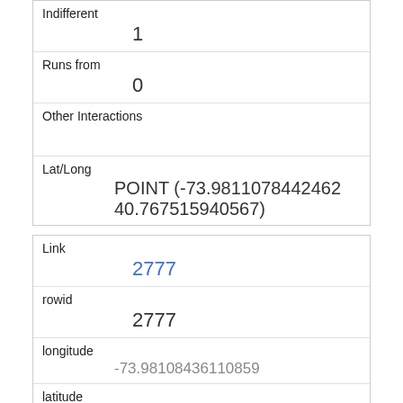| Indifferent | 1 |
| Runs from | 0 |
| Other Interactions |  |
| Lat/Long | POINT (-73.9811078442462 40.767515940567) |
| Link | 2777 |
| rowid | 2777 |
| longitude | -73.98108436110859 |
| latitude | 40.768790549369896 |
| Unique Squirrel ID | 2A-PM-1019-05 |
| Hectare | 02A |